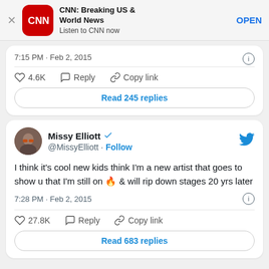[Figure (screenshot): CNN Breaking US & World News app advertisement banner with CNN logo, title, subtitle 'Listen to CNN now', and OPEN button]
7:15 PM · Feb 2, 2015
4.6K   Reply   Copy link
Read 245 replies
Missy Elliott @MissyElliott · Follow
I think it's cool new kids think I'm a new artist that goes to show u that I'm still on 🔥 & will rip down stages 20 yrs later
7:28 PM · Feb 2, 2015
27.8K   Reply   Copy link
Read 683 replies